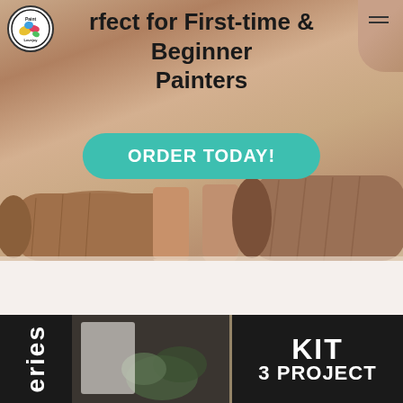[Figure (screenshot): Website screenshot for 'Paint Lovejoy' featuring a hero banner with colored pencils, an order button, and a kit series section at the bottom.]
rfect for First-time & Beginner Painters
ORDER TODAY!
eries
KIT
3 PROJECT